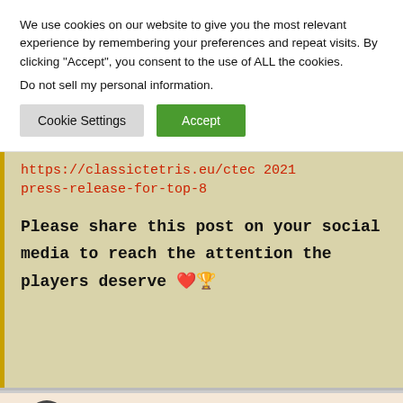We use cookies on our website to give you the most relevant experience by remembering your preferences and repeat visits. By clicking “Accept”, you consent to the use of ALL the cookies.
Do not sell my personal information.
Cookie Settings | Accept
https://classictetris.eu/ctec 2021 press-release-for-top-8
Please share this post on your social media to reach the attention the players deserve ❤️🏆
[Figure (screenshot): Bottom strip showing a dark circular avatar icon with a globe symbol on a light peach/tan background]